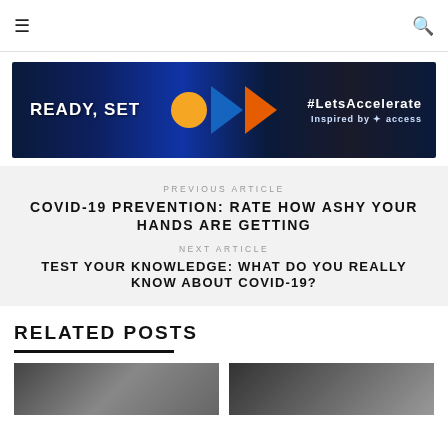☰  🔍
[Figure (photo): Dark blue banner advertisement with 'READY, SET' text on the left, orange circle and arrow graphics in the center, and '#LetsAccelerate Inspired by Access' text on the right]
PREVIOUS ARTICLE
COVID-19 PREVENTION: RATE HOW ASHY YOUR HANDS ARE GETTING
NEXT ARTICLE
TEST YOUR KNOWLEDGE: WHAT DO YOU REALLY KNOW ABOUT COVID-19?
RELATED POSTS
[Figure (photo): Two thumbnail images for related posts, partially cut off at the bottom of the page]